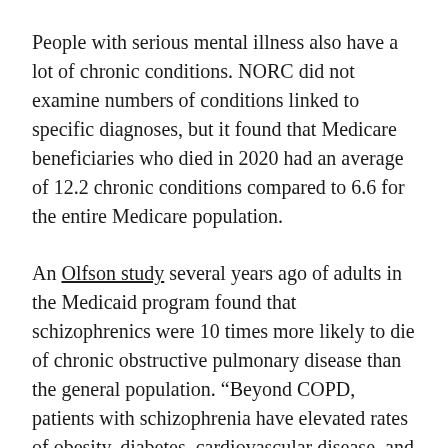People with serious mental illness also have a lot of chronic conditions. NORC did not examine numbers of conditions linked to specific diagnoses, but it found that Medicare beneficiaries who died in 2020 had an average of 12.2 chronic conditions compared to 6.6 for the entire Medicare population.
An Olfson study several years ago of adults in the Medicaid program found that schizophrenics were 10 times more likely to die of chronic obstructive pulmonary disease than the general population. “Beyond COPD, patients with schizophrenia have elevated rates of obesity, diabetes, cardiovascular disease, and other persistent medical conditions that